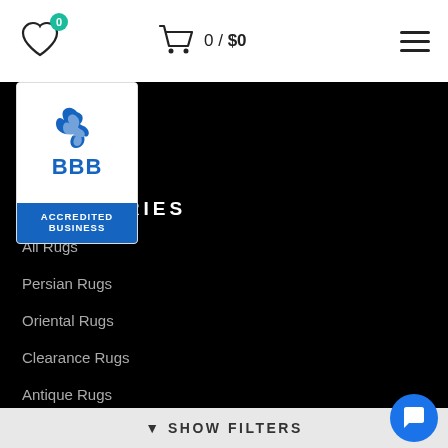Heart icon with badge 0, Cart 0/$0, Hamburger menu
[Figure (logo): BBB Accredited Business badge with blue flame logo and blue background bottom section]
CATEGORIES
All Rugs
Persian Rugs
Oriental Rugs
Clearance Rugs
Antique Rugs
Modern and Contemporary Rugs
▼ SHOW FILTERS